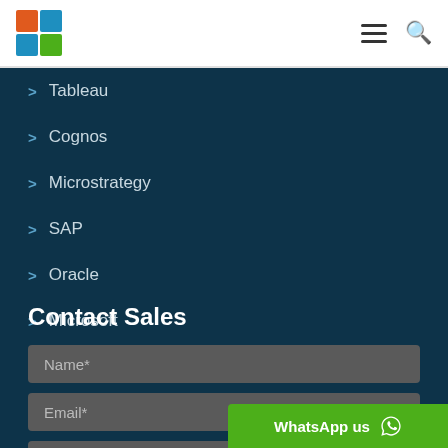Logo and navigation header
Tableau
Cognos
Microstrategy
SAP
Oracle
Microsoft
Contact Sales
Name*
Email*
Phone*
WhatsApp us